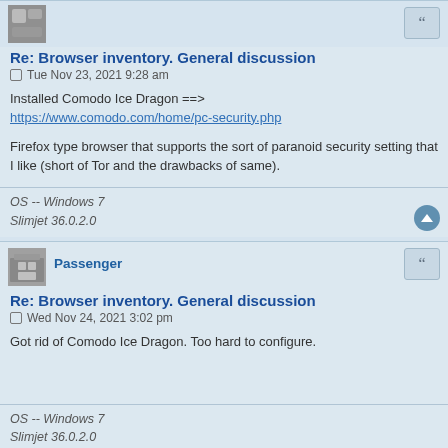[Figure (photo): Small avatar image, grayscale photo, top left of first post]
Re: Browser inventory. General discussion
Tue Nov 23, 2021 9:28 am
Installed Comodo Ice Dragon ==>
https://www.comodo.com/home/pc-security.php
Firefox type browser that supports the sort of paranoid security setting that I like (short of Tor and the drawbacks of same).
OS -- Windows 7
Slimjet 36.0.2.0
[Figure (photo): Small avatar image, grayscale photo of building, second post]
Passenger
Re: Browser inventory. General discussion
Wed Nov 24, 2021 3:02 pm
Got rid of Comodo Ice Dragon. Too hard to configure.
OS -- Windows 7
Slimjet 36.0.2.0